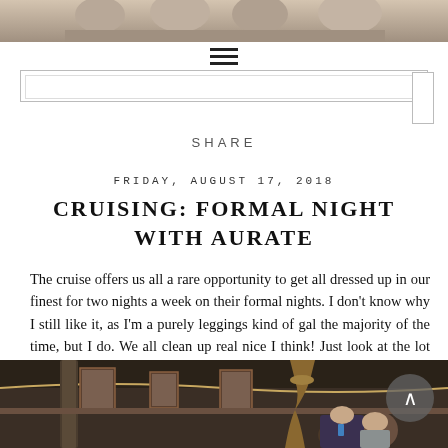[Figure (photo): Top portion of a group photo on a cruise ship, partially cropped at the top of the page]
[Figure (other): Hamburger menu icon (three horizontal lines)]
[Figure (other): Search box area with outer and inner border rectangles]
SHARE
FRIDAY, AUGUST 17, 2018
CRUISING: FORMAL NIGHT WITH AURATE
The cruise offers us all a rare opportunity to get all dressed up in our finest for two nights a week on their formal nights. I don't know why I still like it, as I'm a purely leggings kind of gal the majority of the time, but I do. We all clean up real nice I think! Just look at the lot of us! Seriously, how lucky are we! I love my big family!
[Figure (photo): Photo of a group of people dressed formally in a decorated cruise ship dining room, partially cut off at the bottom of the page]